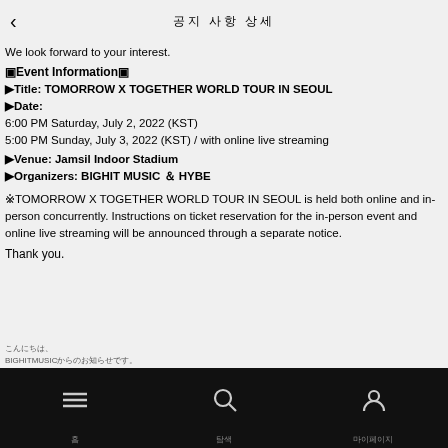공지 사항 상세
We look forward to your interest.
▣Event Information▣
▶Title: TOMORROW X TOGETHER WORLD TOUR IN SEOUL
▶Date:
6:00 PM Saturday, July 2, 2022 (KST)
5:00 PM Sunday, July 3, 2022 (KST) / with online live streaming
▶Venue: Jamsil Indoor Stadium
▶Organizers: BIGHIT MUSIC ＆ HYBE
※TOMORROW X TOGETHER WORLD TOUR IN SEOUL is held both online and in-person concurrently. Instructions on ticket reservation for the in-person event and online live streaming will be announced through a separate notice.
Thank you.
こんにちは、
BIGHIT MUSICからのお知らせです。